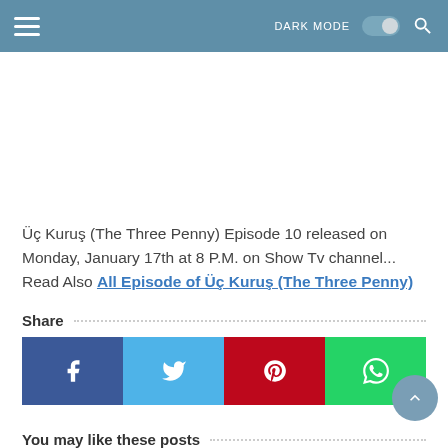≡  DARK MODE  🔍
Üç Kuruş (The Three Penny) Episode 10 released on Monday, January 17th at 8 P.M. on Show Tv channel... Read Also All Episode of Üç Kuruş (The Three Penny)
Share
[Figure (other): Social share buttons: Facebook, Twitter, Pinterest, WhatsApp with scroll-to-top button]
You may like these posts